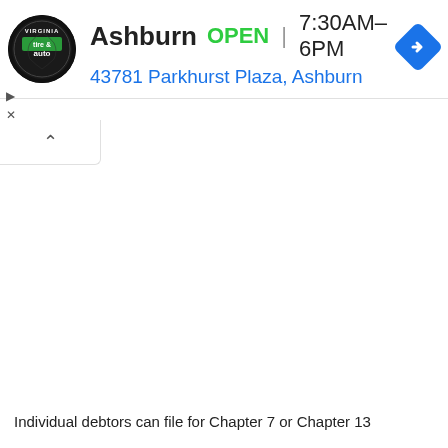[Figure (screenshot): A Virginia Tire & Auto business listing card showing: logo (circular black badge with 'tire & auto' text and green box), business name 'Ashburn', status 'OPEN', hours '7:30AM–6PM', address '43781 Parkhurst Plaza, Ashburn', and a blue navigation diamond icon. Below is a UI collapse tab with an up-arrow (^). Left side has play and X control icons.]
Individual debtors can file for Chapter 7 or Chapter 13